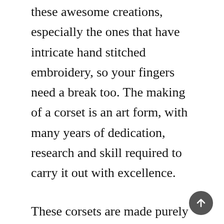these awesome creations, especially the ones that have intricate hand stitched embroidery, so your fingers need a break too. The making of a corset is an art form, with many years of dedication, research and skill required to carry it out with excellence.
These corsets are made purely for fashion purposes. Although they look like real corsets, they do not offer the function of a real corset, which is waist reduction and the creation of an hourglass silhouette